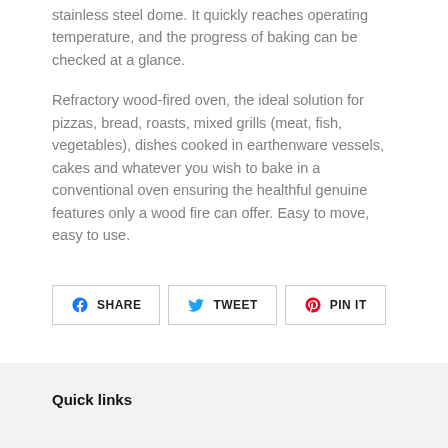stainless steel dome. It quickly reaches operating temperature, and the progress of baking can be checked at a glance.
Refractory wood-fired oven, the ideal solution for pizzas, bread, roasts, mixed grills (meat, fish, vegetables), dishes cooked in earthenware vessels, cakes and whatever you wish to bake in a conventional oven ensuring the healthful genuine features only a wood fire can offer. Easy to move, easy to use.
[Figure (other): Social share buttons: SHARE (Facebook), TWEET (Twitter), PIN IT (Pinterest)]
Quick links